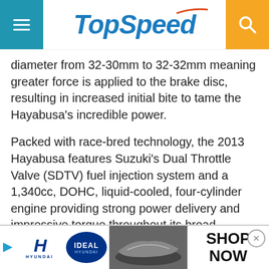TopSpeed
diameter from 32-30mm to 32-32mm meaning greater force is applied to the brake disc, resulting in increased initial bite to tame the Hayabusa's incredible power.
Packed with race-bred technology, the 2013 Hayabusa features Suzuki's Dual Throttle Valve (SDTV) fuel injection system and a 1,340cc, DOHC, liquid-cooled, four-cylinder engine providing strong power delivery and impressive torque throughout its broad powerband.
[Figure (infographic): Advertisement banner: Gift Card Granny - Give teachers a gift they'll actually use]
[Figure (infographic): Bottom advertisement banner for Hyundai Ideal dealership - SHOP NOW]